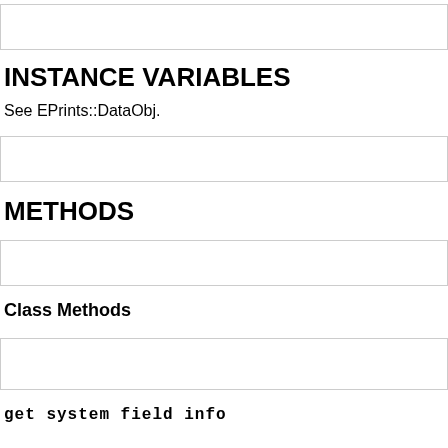[Figure (other): Empty ruled box at top of page]
INSTANCE VARIABLES
See EPrints::DataObj.
[Figure (other): Empty ruled box below instance variables text]
METHODS
[Figure (other): Empty ruled box below METHODS header]
Class Methods
[Figure (other): Empty ruled box below Class Methods header]
get_system_field_info